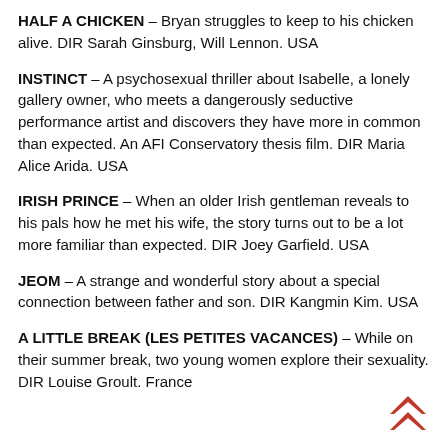HALF A CHICKEN – Bryan struggles to keep to his chicken alive. DIR Sarah Ginsburg, Will Lennon. USA
INSTINCT – A psychosexual thriller about Isabelle, a lonely gallery owner, who meets a dangerously seductive performance artist and discovers they have more in common than expected. An AFI Conservatory thesis film. DIR Maria Alice Arida. USA
IRISH PRINCE – When an older Irish gentleman reveals to his pals how he met his wife, the story turns out to be a lot more familiar than expected. DIR Joey Garfield. USA
JEOM – A strange and wonderful story about a special connection between father and son. DIR Kangmin Kim. USA
A LITTLE BREAK (LES PETITES VACANCES) – While on their summer break, two young women explore their sexuality. DIR Louise Groult. France
[Figure (logo): Red double chevron/arrow logo pointing upward]